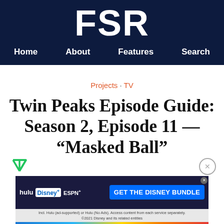FSR
Home  About  Features  Search
Projects · TV
Twin Peaks Episode Guide: Season 2, Episode 11 — “Masked Ball”
[Figure (logo): Green triangle/arrow icon]
[Figure (other): Close button X circle]
[Figure (other): Disney Bundle advertisement banner with Hulu, Disney+, ESPN+ logos and GET THE DISNEY BUNDLE CTA]